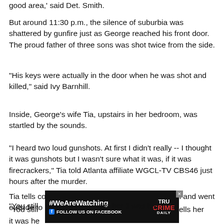good area,' said Det. Smith.
But around 11:30 p.m., the silence of suburbia was shattered by gunfire just as George reached his front door. The proud father of three sons was shot twice from the side.
"His keys were actually in the door when he was shot and killed," said Ivy Barnhill.
Inside, George's wife Tia, upstairs in her bedroom, was startled by the sounds.
"I heard two loud gunshots. At first I didn't really -- I thought it was gunshots but I wasn't sure what it was, if it was firecrackers," Tia told Atlanta affiliate WGCL-TV CBS46 just hours after the murder.
Tia tells cops her brother Tim grabbed his shotgun and went outside to investigate.
[Figure (other): Advertisement banner: #WeAreWatching - FOLLOW US ON FACEBOOK, True Crime Daily logo]
"You still [partially obscured] ells her it was he[partially obscured]